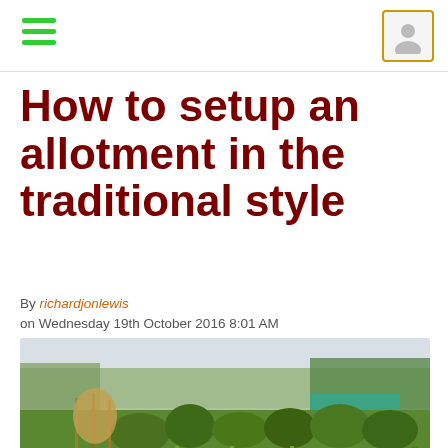How to setup an allotment in the traditional style
By richardjonlewis
on Wednesday 19th October 2016 8:01 AM
[Figure (photo): Photograph of a traditional allotment garden showing freshly dug dark soil in the foreground, rows of green vegetable plants including leeks and squash in the middle ground, and further garden plots, netting, fences, and trees in the background. Green grass edges the right side.]